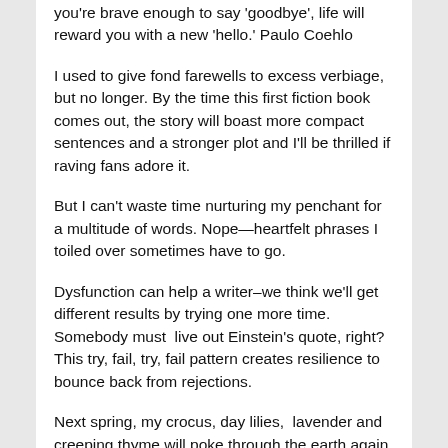you're brave enough to say 'goodbye', life will reward you with a new 'hello.' Paulo Coehlo
I used to give fond farewells to excess verbiage, but no longer. By the time this first fiction book comes out, the story will boast more compact sentences and a stronger plot and I'll be thrilled if raving fans adore it.
But I can't waste time nurturing my penchant for a multitude of words. Nope—heartfelt phrases I toiled over sometimes have to go.
Dysfunction can help a writer–we think we'll get different results by trying one more time. Somebody must  live out Einstein's quote, right? This try, fail, try, fail pattern creates resilience to bounce back from rejections.
Next spring, my crocus, day lilies,  lavender and creeping thyme will poke through the earth again and I'll re-plant whatever survived the winter inside–ready for summer's glory.